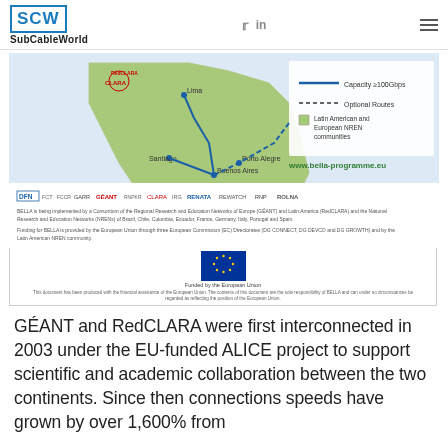SubCableWorld
[Figure (map): BELLA programme map showing submarine cable routes connecting Latin America (Lima, Santiago, Buenos Aires, Porto Alegre) with Europe. Legend shows: Capacity ≥100Gbps (solid blue line), Optional Routes (dotted line), Latin American and European NREN communities (green). Website: www.bella-programme.eu. Partner logos: DFN, FCT, FCCR, GARR, GÉANT, RNPKR, CLARA, IRG, RENATA, REWATCH, RNP, ROLNA. Footnotes about consortium of Regional Research and Education Networks of Europe (GÉANT) and Latin America (RedCLARA) and NRENs. Funded by the European Union.]
GÉANT and RedCLARA were first interconnected in 2003 under the EU-funded ALICE project to support scientific and academic collaboration between the two continents. Since then connections speeds have grown by over 1,600% from